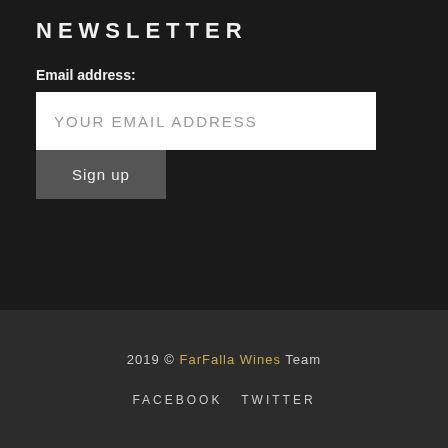NEWSLETTER
Email address:
YOUR EMAIL ADDRESS
Sign up
2019 © FarFalla Wines Team
FACEBOOK   TWITTER